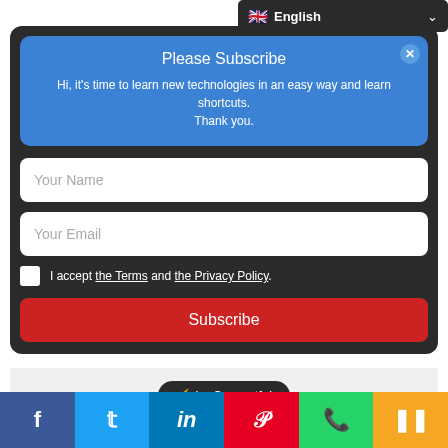[Figure (screenshot): Language selector dropdown showing English with UK flag icon]
Please Subscribe
Hi, it's time to learn new technologies in an easy way and learn shortcuts. Thank you.
Your Name
Your Email
I accept the Terms and the Privacy Policy.
Subscribe
⚡ by Convertful
← Create & Drop Database MySQL Using Command Line & PHP